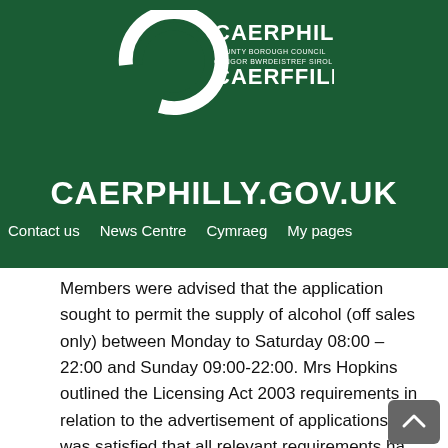[Figure (logo): Caerphilly County Borough Council / Caerffili logo in white on dark green background]
Contact us   News Centre   Cymraeg   My pages
CAERPHILLY.GOV.UK
Members were advised that the application sought to permit the supply of alcohol (off sales only) between Monday to Saturday 08:00 – 22:00 and Sunday 09:00-22:00. Mrs Hopkins outlined the Licensing Act 2003 requirements in relation to the advertisement of applications and was satisfied that all relevant requirements had been complied with.